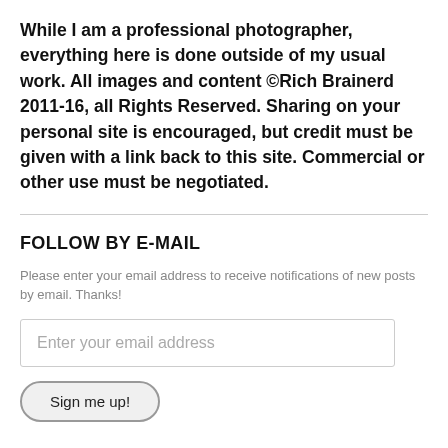While I am a professional photographer, everything here is done outside of my usual work. All images and content ©Rich Brainerd 2011-16, all Rights Reserved. Sharing on your personal site is encouraged, but credit must be given with a link back to this site. Commercial or other use must be negotiated.
FOLLOW BY E-MAIL
Please enter your email address to receive notifications of new posts by email. Thanks!